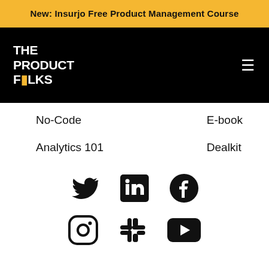New: Insurjo Free Product Management Course
[Figure (logo): The Product Folks logo — white bold italic text on black background with a yellow/gold suitcase icon replacing the 'O' in FOLKS]
No-Code
E-book
Analytics 101
Dealkit
[Figure (infographic): Two rows of social media icons: top row — Twitter (bird), LinkedIn (in box), Facebook (f circle); bottom row — Instagram (camera circle), Slack (hashtag cluster), YouTube (play button rectangle)]